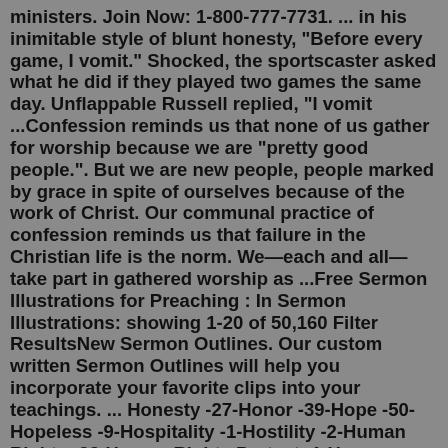ministers. Join Now: 1-800-777-7731. ... in his inimitable style of blunt honesty, "Before every game, I vomit." Shocked, the sportscaster asked what he did if they played two games the same day. Unflappable Russell replied, "I vomit ...Confession reminds us that none of us gather for worship because we are "pretty good people.". But we are new people, people marked by grace in spite of ourselves because of the work of Christ. Our communal practice of confession reminds us that failure in the Christian life is the norm. We—each and all—take part in gathered worship as ...Free Sermon Illustrations for Preaching : In Sermon Illustrations: showing 1-20 of 50,160 Filter ResultsNew Sermon Outlines. Our custom written Sermon Outlines will help you incorporate your favorite clips into your teachings. ... Honesty -27-Honor -39-Hope -50-Hopeless -9-Hospitality -1-Hostility -2-Human Rights -33-Human Rights Protest -1-Human Trafficking -16-Humanitarianism -9-This Week's Illustration. An idea to serve as an example or